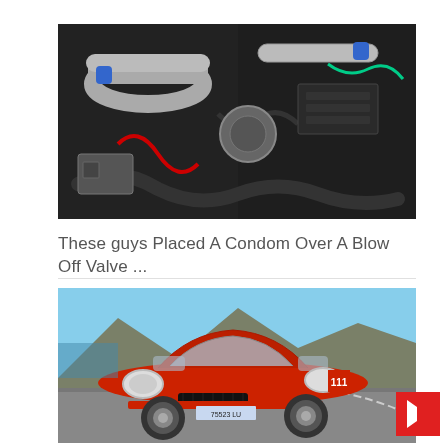[Figure (photo): Close-up photo of a car engine bay with chrome/metal pipes, blue couplings, and various engine components visible]
These guys Placed A Condom Over A Blow Off Valve ...
[Figure (photo): Photo of a classic red Ferrari sports car with license plate 75523 LU driving on a coastal road with cliffs in the background]